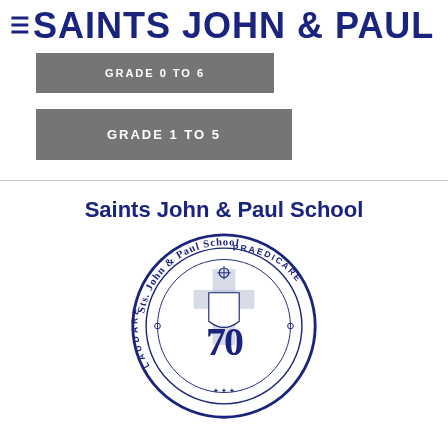SAINTS JOHN & PAUL
GRADE 0 TO 6
GRADE 1 TO 5
Saints John & Paul School
[Figure (logo): Circular school seal for Sts. John & Paul School with the number 70 in the center and text LAUDARE and PRAEDICARE around the inner ring]